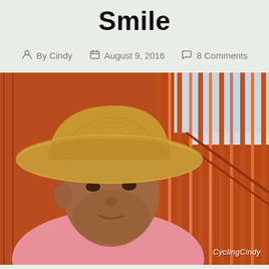Smile
By Cindy   August 9, 2016   8 Comments
[Figure (photo): A man wearing a straw cowboy hat and pink shirt, standing in front of a red-orange building with vertical slats/railings. Watermark reads CyclingCindy in bottom right.]